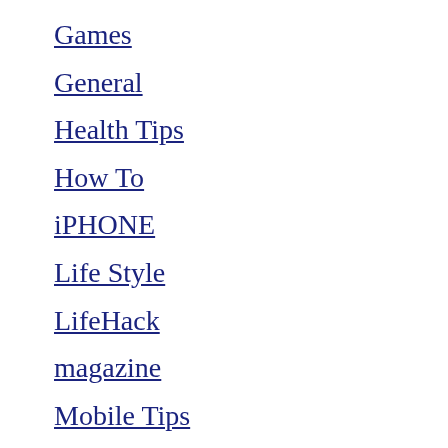Games
General
Health Tips
How To
iPHONE
Life Style
LifeHack
magazine
Mobile Tips
Movies